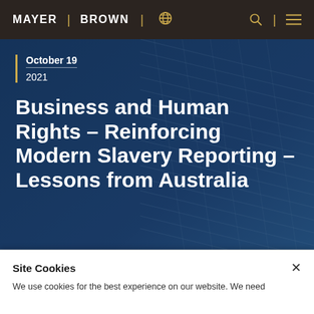MAYER | BROWN
October 19
2021
Business and Human Rights – Reinforcing Modern Slavery Reporting – Lessons from Australia
Site Cookies
We use cookies for the best experience on our website. We need